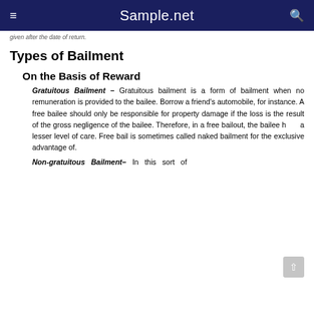Sample.net
given after the date of return.
Types of Bailment
On the Basis of Reward
Gratuitous Bailment – Gratuitous bailment is a form of bailment when no remuneration is provided to the bailee. Borrow a friend's automobile, for instance. A free bailee should only be responsible for property damage if the loss is the result of the gross negligence of the bailee. Therefore, in a free bailout, the bailee has a lesser level of care. Free bail is sometimes called naked bailment for the exclusive advantage of.
Non-gratuitous Bailment– In this sort of